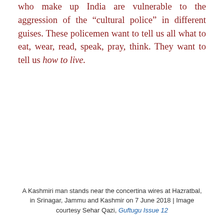who make up India are vulnerable to the aggression of the “cultural police” in different guises. These policemen want to tell us all what to eat, wear, read, speak, pray, think. They want to tell us how to live.
A Kashmiri man stands near the concertina wires at Hazratbal, in Srinagar, Jammu and Kashmir on 7 June 2018 | Image courtesy Sehar Qazi, Guftugu Issue 12